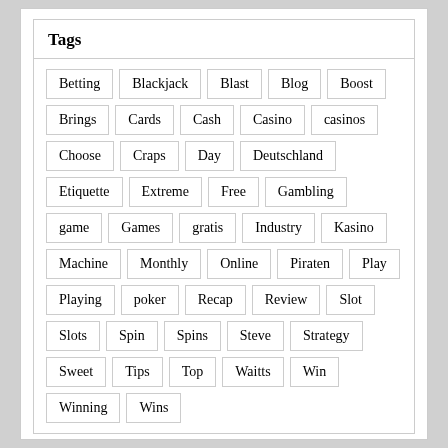Tags
Betting
Blackjack
Blast
Blog
Boost
Brings
Cards
Cash
Casino
casinos
Choose
Craps
Day
Deutschland
Etiquette
Extreme
Free
Gambling
game
Games
gratis
Industry
Kasino
Machine
Monthly
Online
Piraten
Play
Playing
poker
Recap
Review
Slot
Slots
Spin
Spins
Steve
Strategy
Sweet
Tips
Top
Waitts
Win
Winning
Wins